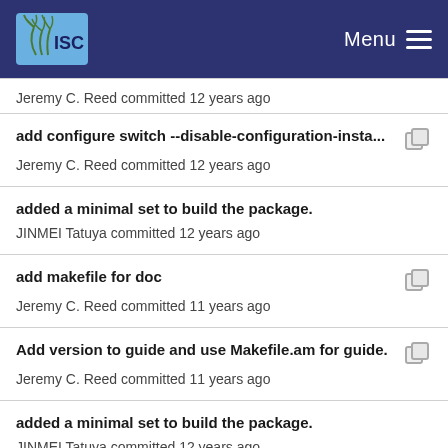ISC Menu
Jeremy C. Reed committed 12 years ago
add configure switch --disable-configuration-insta...
Jeremy C. Reed committed 12 years ago
added a minimal set to build the package.
JINMEI Tatuya committed 12 years ago
add makefile for doc
Jeremy C. Reed committed 11 years ago
Add version to guide and use Makefile.am for guide.
Jeremy C. Reed committed 11 years ago
added a minimal set to build the package.
JINMEI Tatuya committed 12 years ago
template implementation of parkinglot
JINMEI Tatuya committed 12 years ago
Add beginning Makefile.am for bigtool, msgq, and ...
Jeremy C. Reed committed 12 years ago